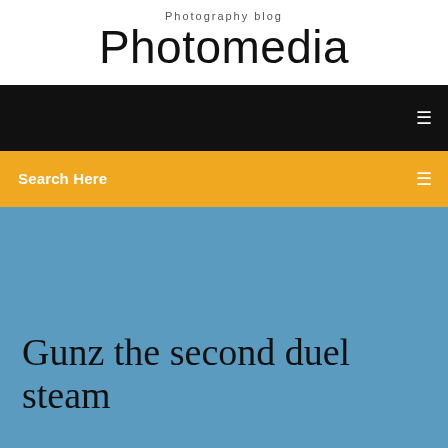Photography blog
Photomedia
[Figure (screenshot): Black navigation bar with a small white icon on the right]
Search Here
Gunz the second duel steam